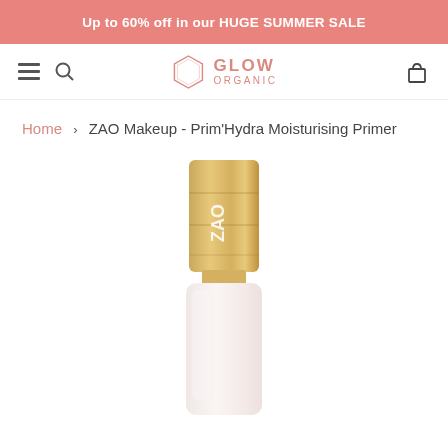Up to 60% off in our HUGE SUMMER SALE
[Figure (logo): Glow Organic logo with hexagon icon and text GLOW ORGANIC]
Home > ZAO Makeup - Prim'Hydra Moisturising Primer
[Figure (photo): ZAO Makeup Prim'Hydra Moisturising Primer product — a pale pink bottle with a bamboo cap showing ZAO branding]